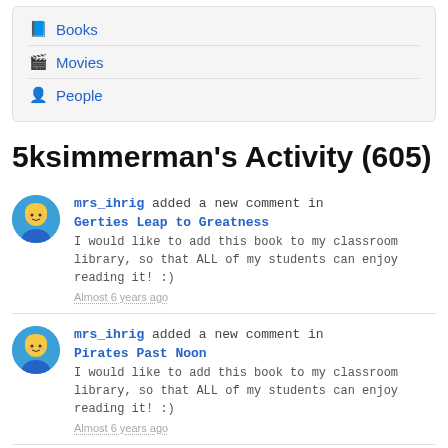📘 Books
🎬 Movies
👤 People
5ksimmerman's Activity (605)
mrs_ihrig added a new comment in Gerties Leap to Greatness
I would like to add this book to my classroom library, so that ALL of my students can enjoy reading it! :)
Almost 6 years ago
mrs_ihrig added a new comment in Pirates Past Noon
I would like to add this book to my classroom library, so that ALL of my students can enjoy reading it! :)
Almost 6 years ago